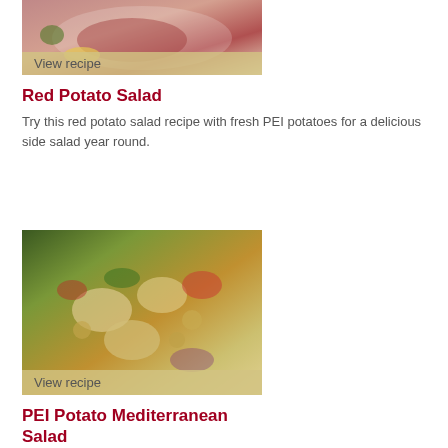[Figure (photo): Photo of Red Potato Salad dish with meat and garnishes in a white bowl, with a 'View recipe' banner overlay]
Red Potato Salad
Try this red potato salad recipe with fresh PEI potatoes for a delicious side salad year round.
[Figure (photo): Photo of PEI Potato Mediterranean Salad with chickpeas, red peppers, potatoes, and herbs, with a 'View recipe' banner overlay]
PEI Potato Mediterranean Salad
A colourful, nutritious salad for